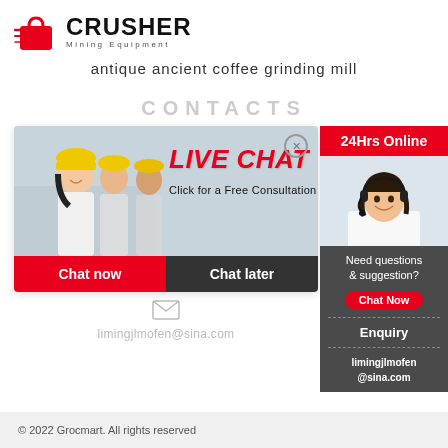[Figure (logo): Crusher Mining Equipment logo with red bag icon and bold text]
antique ancient coffee grinding mill
CONTACTS
[Figure (infographic): Live chat widget showing workers in hard hats, LIVE CHAT text in red italic, Click for a Free Consultation, Chat now and Chat later buttons]
[Figure (infographic): Right sidebar panel showing 24Hrs Online header in red, customer service representative with headset, Need questions & suggestion? text, Chat Now button, Enquiry link, and limingjlmofen@sina.com email]
limingjlmofen@sina.com
© 2022 Grocmart. All rights reserved